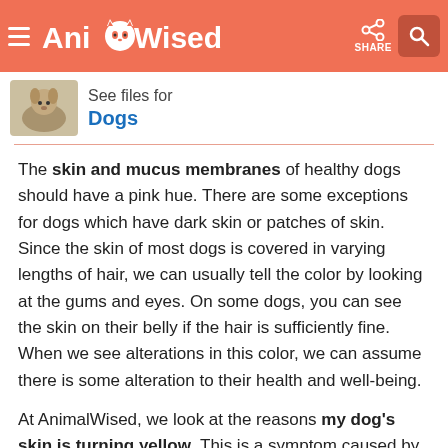AnimalWised — SHARE
See files for Dogs
The skin and mucus membranes of healthy dogs should have a pink hue. There are some exceptions for dogs which have dark skin or patches of skin. Since the skin of most dogs is covered in varying lengths of hair, we can usually tell the color by looking at the gums and eyes. On some dogs, you can see the skin on their belly if the hair is sufficiently fine. When we see alterations in this color, we can assume there is some alteration to their health and well-being.
At AnimalWised, we look at the reasons my dog's skin is turning yellow. This is a symptom caused by jaundice in dogs, something which has its own specific causes, symptoms and treatment.